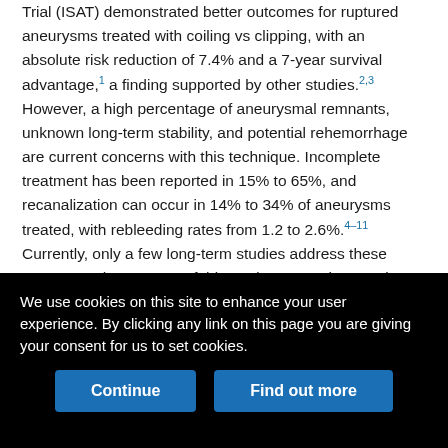Trial (ISAT) demonstrated better outcomes for ruptured aneurysms treated with coiling vs clipping, with an absolute risk reduction of 7.4% and a 7-year survival advantage,1 a finding supported by other studies.2,3 However, a high percentage of aneurysmal remnants, unknown long-term stability, and potential rehemorrhage are current concerns with this technique. Incomplete treatment has been reported in 15% to 65%, and recanalization can occur in 14% to 34% of aneurysms treated, with rebleeding rates from 1.2 to 2.6%.4–11 Currently, only a few long-term studies address these concerns. The purpose of this study was to characterize the long-term clinical and angiographic outcome of ruptured intracranial aneurysms treated by endovascular techniques, focusing on rehemorrhage and changes in aneurysm morphologic features with time.
We use cookies on this site to enhance your user experience. By clicking any link on this page you are giving your consent for us to set cookies.